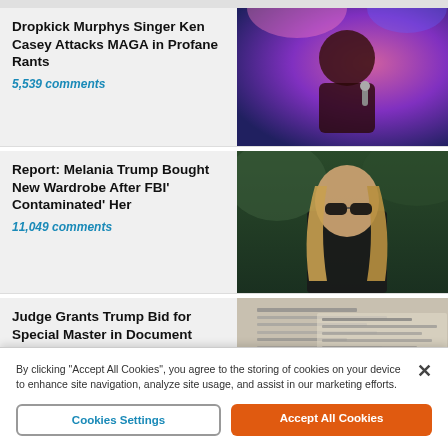Dropkick Murphys Singer Ken Casey Attacks MAGA in Profane Rants
5,539 comments
[Figure (photo): Singer performing on stage with pink/purple stage lighting, holding a microphone]
Report: Melania Trump Bought New Wardrobe After FBI' Contaminated' Her
11,049 comments
[Figure (photo): Woman with long blonde hair wearing sunglasses and dark clothing outdoors with green background]
Judge Grants Trump Bid for Special Master in Document Search
[Figure (photo): Close-up of documents with printed text, resembling legal or government papers]
By clicking "Accept All Cookies", you agree to the storing of cookies on your device to enhance site navigation, analyze site usage, and assist in our marketing efforts.
Cookies Settings
Accept All Cookies